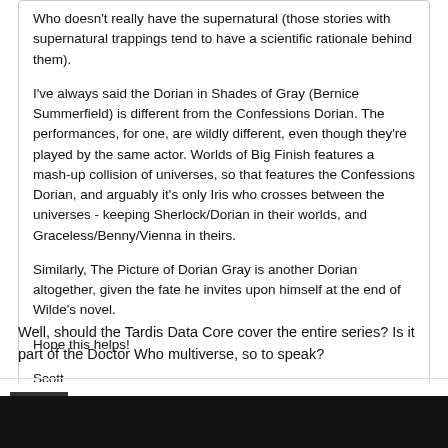Who doesn't really have the supernatural (those stories with supernatural trappings tend to have a scientific rationale behind them).

I've always said the Dorian in Shades of Gray (Bernice Summerfield) is different from the Confessions Dorian. The performances, for one, are wildly different, even though they're played by the same actor. Worlds of Big Finish features a mash-up collision of universes, so that features the Confessions Dorian, and arguably it's only Iris who crosses between the universes - keeping Sherlock/Dorian in their worlds, and Graceless/Benny/Vienna in theirs.

Similarly, The Picture of Dorian Gray is another Dorian altogether, given the fate he invites upon himself at the end of Wilde's novel.

Hope this helps!

Scott
Well, should the Tardis Data Core cover the entire series? Is it part of the Doctor Who multiverse, so to speak?
omega
Chancellor